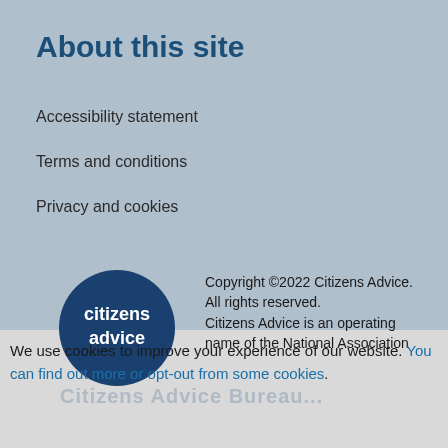About this site
Accessibility statement
Terms and conditions
Privacy and cookies
[Figure (logo): Citizens Advice logo: dark blue speech bubble circle with white text 'citizens advice']
Copyright ©2022 Citizens Advice. All rights reserved.
Citizens Advice is an operating name of the National Association
We use cookies to improve your experience of our website. You can find out more or opt-out from some cookies.
I'm fine with cookies